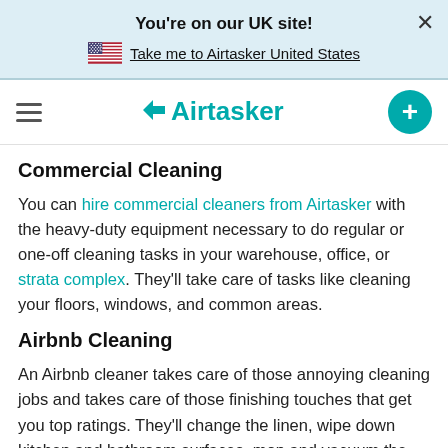You're on our UK site!
Take me to Airtasker United States
[Figure (logo): Airtasker logo with hamburger menu and plus button]
Commercial Cleaning
You can hire commercial cleaners from Airtasker with the heavy-duty equipment necessary to do regular or one-off cleaning tasks in your warehouse, office, or strata complex. They'll take care of tasks like cleaning your floors, windows, and common areas.
Airbnb Cleaning
An Airbnb cleaner takes care of those annoying cleaning jobs and takes care of those finishing touches that get you top ratings. They'll change the linen, wipe down kitchen and bathroom surfaces, mop and vacuum the floors, and get everything ready for the next guest. If